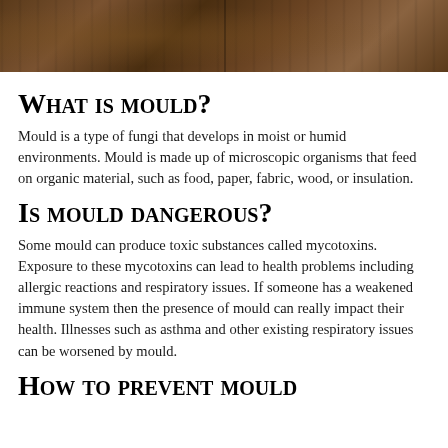[Figure (photo): Photo of a wooden surface/barrel top, split into two panels side by side]
What is mould?
Mould is a type of fungi that develops in moist or humid environments. Mould is made up of microscopic organisms that feed on organic material, such as food, paper, fabric, wood, or insulation.
Is mould dangerous?
Some mould can produce toxic substances called mycotoxins. Exposure to these mycotoxins can lead to health problems including allergic reactions and respiratory issues. If someone has a weakened immune system then the presence of mould can really impact their health. Illnesses such as asthma and other existing respiratory issues can be worsened by mould.
How to prevent mould